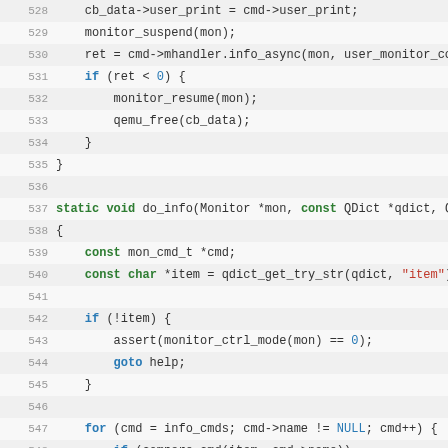[Figure (screenshot): Source code viewer showing C code lines 528-553 with syntax highlighting. Line numbers in gray, keywords in blue/green, string literals in red, numeric literals in blue.]